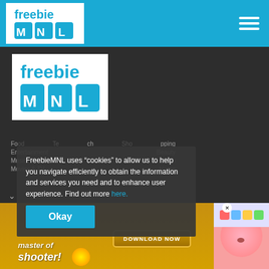FreebieMNL header with logo and hamburger menu
[Figure (logo): FreebieMNL logo - large version on dark background]
Food     Tech     Shopping
Entertainment     Beauty
Music     Fashion
Movies & TV     Home
FreebieMNL uses “cookies” to allow us to help you navigate efficiently to obtain the information and services you need and to enhance user experience. Find out more here.
Okay
[Figure (screenshot): Mobile game advertisement showing 'master of shooter!' text with Download Now button and colorful game imagery]